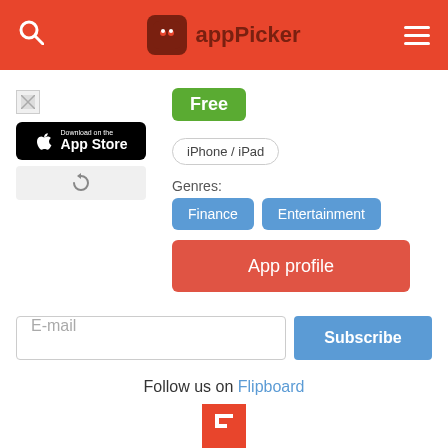appPicker
[Figure (screenshot): Broken image placeholder for app icon]
[Figure (logo): Download on the App Store button (black)]
[Figure (other): Refresh/reload button (grey)]
Free
iPhone / iPad
Genres:
Finance
Entertainment
App profile
E-mail
Subscribe
Follow us on Flipboard
[Figure (logo): Flipboard red square logo]